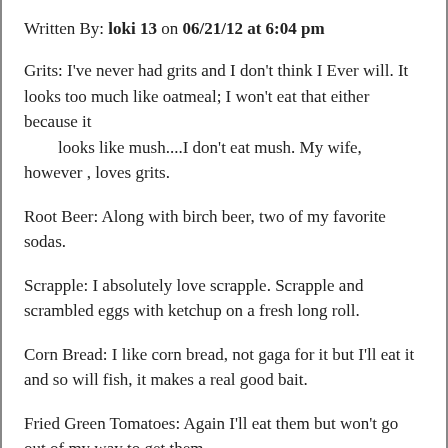Written By: loki 13 on 06/21/12 at 6:04 pm
Grits: I've never had grits and I don't think I Ever will. It looks too much like oatmeal; I won't eat that either because it
        looks like mush....I don't eat mush. My wife, however , loves grits.
Root Beer: Along with birch beer, two of my favorite sodas.
Scrapple: I absolutely love scrapple. Scrapple and scrambled eggs with ketchup on a fresh long roll.
Corn Bread: I like corn bread, not gaga for it but I'll eat it and so will fish, it makes a real good bait.
Fried Green Tomatoes: Again I'll eat them but won't go out of my way to get them.